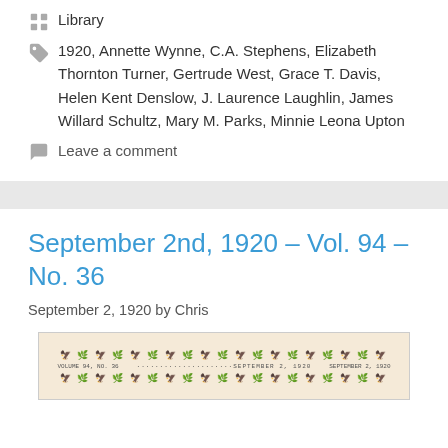Library
1920, Annette Wynne, C.A. Stephens, Elizabeth Thornton Turner, Gertrude West, Grace T. Davis, Helen Kent Denslow, J. Laurence Laughlin, James Willard Schultz, Mary M. Parks, Minnie Leona Upton
Leave a comment
September 2nd, 1920 – Vol. 94 – No. 36
September 2, 1920 by Chris
[Figure (photo): Thumbnail image of a newspaper page header for September 2, 1920, Vol. 94 No. 36, with decorative border and masthead text.]